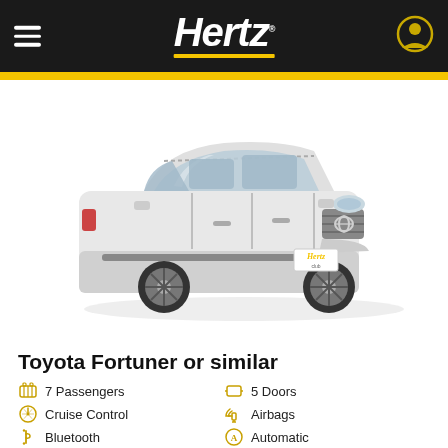Hertz
[Figure (photo): White Toyota Fortuner SUV on white background with Hertz license plate holder]
Toyota Fortuner or similar
7 Passengers
Cruise Control
Bluetooth
5 Doors
Airbags
Automatic